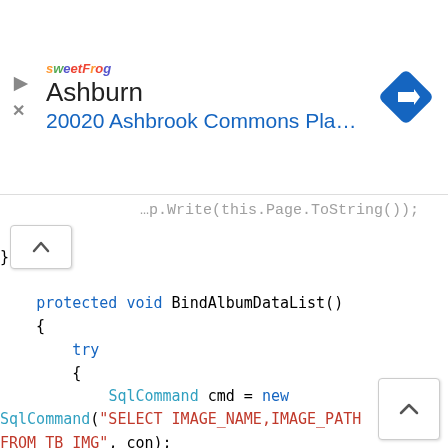[Figure (screenshot): Mobile ad banner showing sweetFrog frozen yogurt location: Ashburn, 20020 Ashbrook Commons Pla... with navigation icon]
...p.Write(this.Page.ToString());
    }
}

protected void BindAlbumDataList()
{
    try
    {
        SqlCommand cmd = new SqlCommand("SELECT IMAGE_NAME,IMAGE_PATH FROM TB_IMG", con);
        con.Open();
        SqlDataReader dr = cmd.ExecuteReader();
        if (dr.HasRows)
        {
            dlImages.DataSource = dr;
            dlImages.DataBind();
        }
        else
        {
            dlImages.DataSource = null;
            dlImages.DataBind();